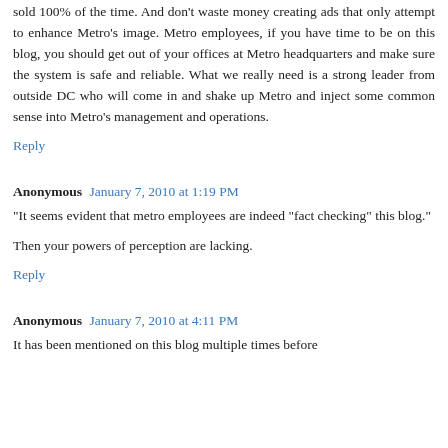sold 100% of the time. And don't waste money creating ads that only attempt to enhance Metro's image. Metro employees, if you have time to be on this blog, you should get out of your offices at Metro headquarters and make sure the system is safe and reliable. What we really need is a strong leader from outside DC who will come in and shake up Metro and inject some common sense into Metro's management and operations.
Reply
Anonymous  January 7, 2010 at 1:19 PM
"It seems evident that metro employees are indeed "fact checking" this blog."
Then your powers of perception are lacking.
Reply
Anonymous  January 7, 2010 at 4:11 PM
It has been mentioned on this blog multiple times before